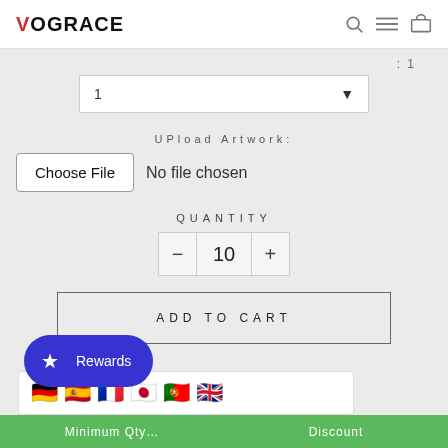VOGRACE
: 1
1
UPload Artwork:
Choose File   No file chosen
QUANTITY
- 10 +
Rewards
ADD TO CART
[Figure (screenshot): Flag icons row: Germany, Spain, France, Japan, Portugal, UK]
Minimum Qty   Discount